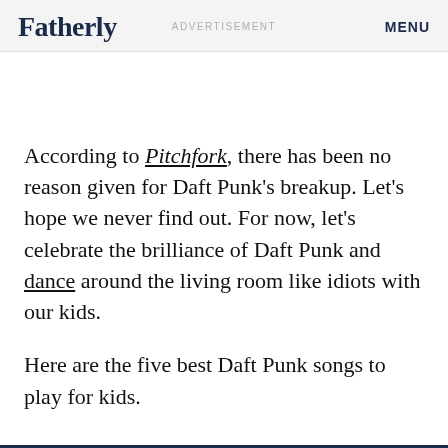Fatherly   ADVERTISEMENT   MENU
According to Pitchfork, there has been no reason given for Daft Punk's breakup. Let's hope we never find out. For now, let's celebrate the brilliance of Daft Punk and dance around the living room like idiots with our kids.
Here are the five best Daft Punk songs to play for kids.